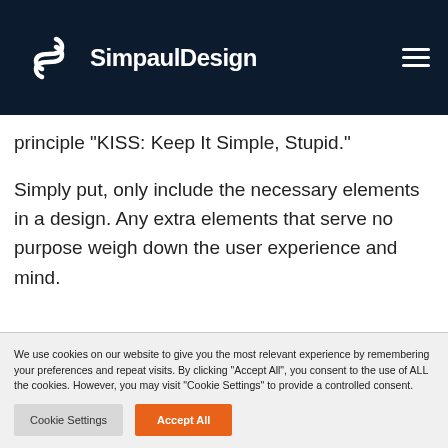SimpaulDesign
principle “KISS: Keep It Simple, Stupid.”
Simply put, only include the necessary elements in a design. Any extra elements that serve no purpose weigh down the user experience and mind.
We use cookies on our website to give you the most relevant experience by remembering your preferences and repeat visits. By clicking “Accept All”, you consent to the use of ALL the cookies. However, you may visit "Cookie Settings" to provide a controlled consent.